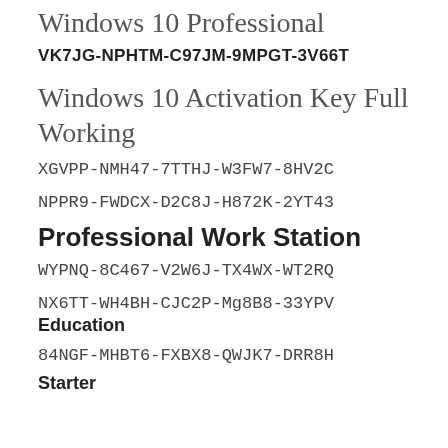Windows 10 Professional
VK7JG-NPHTM-C97JM-9MPGT-3V66T
Windows 10 Activation Key Full Working
XGVPP-NMH47-7TTHJ-W3FW7-8HV2C
NPPR9-FWDCX-D2C8J-H872K-2YT43
Professional Work Station
WYPNQ-8C467-V2W6J-TX4WX-WT2RQ
NX6TT-WH4BH-CJC2P-Mg8B8-33YPV
Education
84NGF-MHBT6-FXBX8-QWJK7-DRR8H
Starter